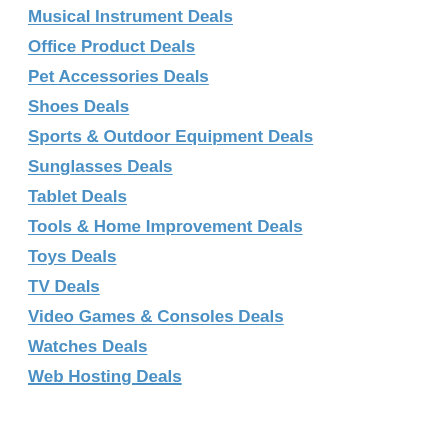Movies & DVD Deals
Musical Instrument Deals
Office Product Deals
Pet Accessories Deals
Shoes Deals
Sports & Outdoor Equipment Deals
Sunglasses Deals
Tablet Deals
Tools & Home Improvement Deals
Toys Deals
TV Deals
Video Games & Consoles Deals
Watches Deals
Web Hosting Deals